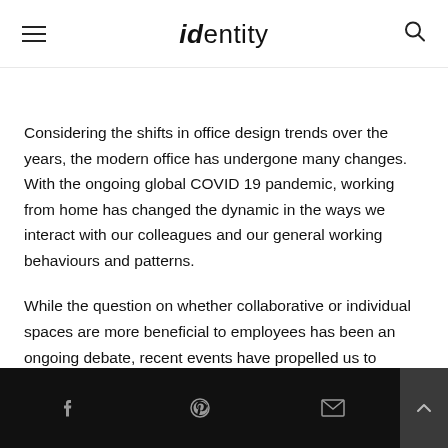identity
Considering the shifts in office design trends over the years, the modern office has undergone many changes. With the ongoing global COVID 19 pandemic, working from home has changed the dynamic in the ways we interact with our colleagues and our general working behaviours and patterns.
While the question on whether collaborative or individual spaces are more beneficial to employees has been an ongoing debate, recent events have propelled us to question this even further...
Social share bar with Facebook, Pinterest, email icons and back-to-top button